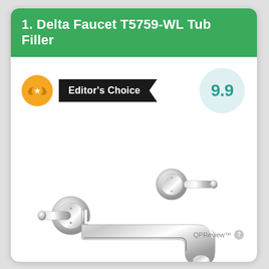1. Delta Faucet T5759-WL Tub Filler
Editor's Choice
9.9
[Figure (photo): Chrome wall-mount Delta Faucet T5759-WL tub filler with two handles and spout]
QPReview™